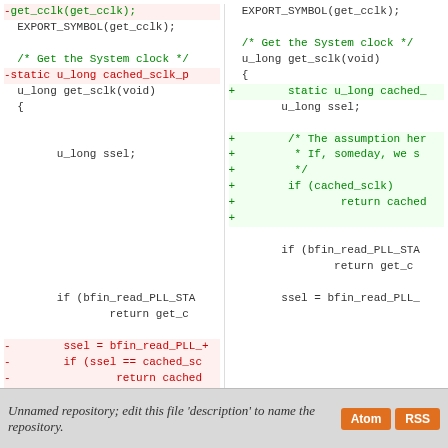[Figure (screenshot): Code diff view showing two columns: left (old) and right (new) versions of a C source file. Removed lines highlighted in red, added lines in green, unchanged lines in black on white background.]
Unnamed repository; edit this file 'description' to name the repository.